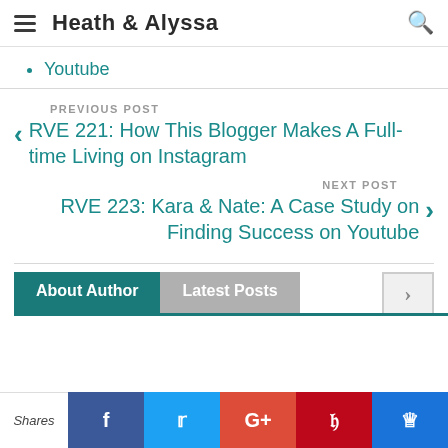Heath & Alyssa
Youtube
PREVIOUS POST
RVE 221: How This Blogger Makes A Full-time Living on Instagram
NEXT POST
RVE 223: Kara & Nate: A Case Study on Finding Success on Youtube
About Author
Latest Posts
Shares